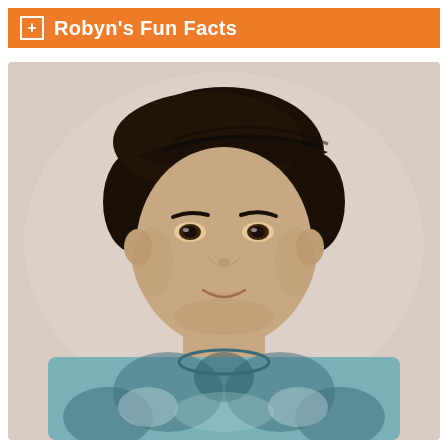Robyn's Fun Facts
[Figure (photo): Portrait photo of a young man with dark hair wearing a blue and white tie-dye t-shirt, smiling slightly, against a light beige/pink background.]